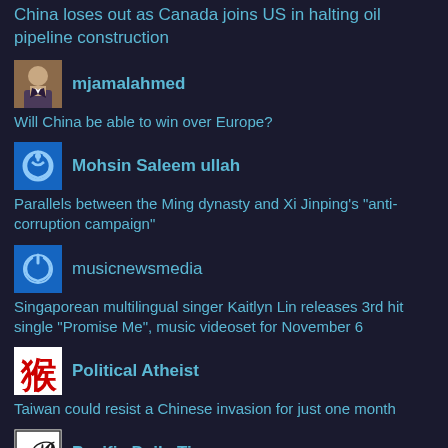China loses out as Canada joins US in halting oil pipeline construction
[Figure (photo): Avatar of user mjamalahmed - person in suit]
mjamalahmed
Will China be able to win over Europe?
[Figure (logo): Blue power icon avatar for Mohsin Saleem ullah]
Mohsin Saleem ullah
Parallels between the Ming dynasty and Xi Jinping's "anti-corruption campaign"
[Figure (logo): Blue power icon avatar for musicnewsmedia]
musicnewsmedia
Singaporean multilingual singer Kaitlyn Lin releases 3rd hit single "Promise Me", music videoset for November 6
[Figure (logo): Red Chinese character logo for Political Atheist]
Political Atheist
Taiwan could resist a Chinese invasion for just one month
[Figure (logo): Pacific Daily Times newspaper logo]
Pacific Daily Times
Cadence Column Finished, February 7, 2022
[Figure (logo): Blue power icon avatar partially visible at bottom]